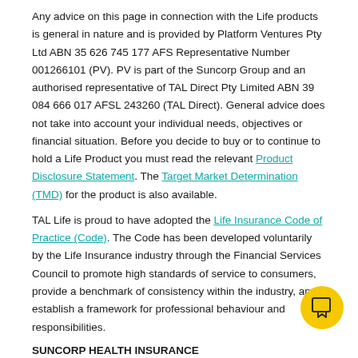Any advice on this page in connection with the Life products is general in nature and is provided by Platform Ventures Pty Ltd ABN 35 626 745 177 AFS Representative Number 001266101 (PV). PV is part of the Suncorp Group and an authorised representative of TAL Direct Pty Limited ABN 39 084 666 017 AFSL 243260 (TAL Direct). General advice does not take into account your individual needs, objectives or financial situation. Before you decide to buy or to continue to hold a Life Product you must read the relevant Product Disclosure Statement. The Target Market Determination (TMD) for the product is also available.
TAL Life is proud to have adopted the Life Insurance Code of Practice (Code). The Code has been developed voluntarily by the Life Insurance industry through the Financial Services Council to promote high standards of service to consumers, provide a benchmark of consistency within the industry, and establish a framework for professional behaviour and responsibilities.
SUNCORP HEALTH INSURANCE